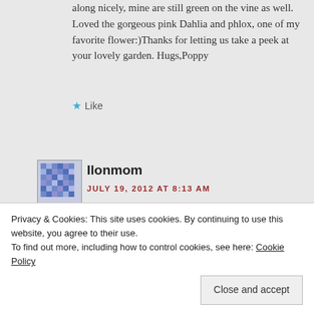along nicely, mine are still green on the vine as well. Loved the gorgeous pink Dahlia and phlox, one of my favorite flower:)Thanks for letting us take a peek at your lovely garden. Hugs,Poppy
★ Like
Ilonmom
JULY 19, 2012 AT 8:13 AM
Poppy
Privacy & Cookies: This site uses cookies. By continuing to use this website, you agree to their use.
To find out more, including how to control cookies, see here: Cookie Policy
Close and accept